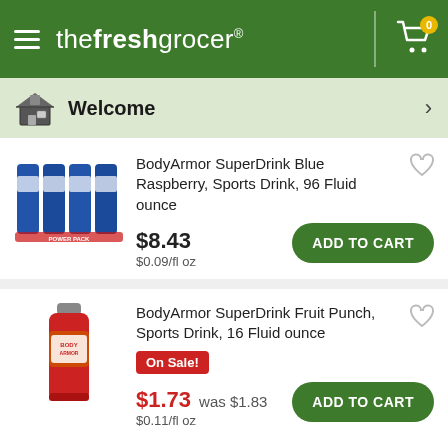thefreshgrocer
Welcome
BodyArmor SuperDrink Blue Raspberry, Sports Drink, 96 Fluid ounce
$8.43
$0.09/fl oz
BodyArmor SuperDrink Fruit Punch, Sports Drink, 16 Fluid ounce
On Sale!
$1.73  was $1.83
$0.11/fl oz